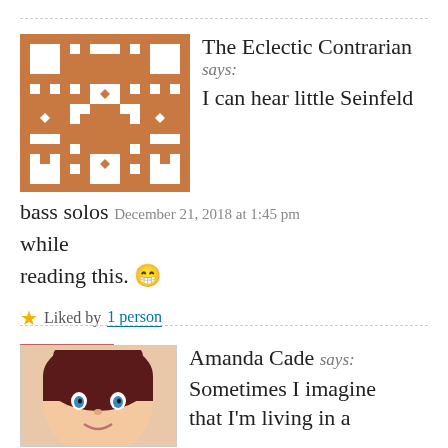The Eclectic Contrarian says: I can hear little Seinfeld bass solos December 21, 2018 at 1:45 pm while reading this. 😁
Liked by 1 person
REPLY
Amanda Cade says: Sometimes I imagine that I'm living in a